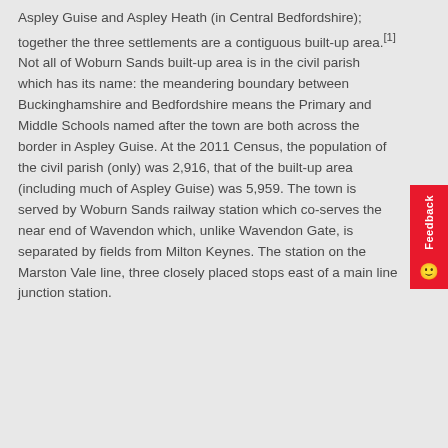Aspley Guise and Aspley Heath (in Central Bedfordshire); together the three settlements are a contiguous built-up area.[1] Not all of Woburn Sands built-up area is in the civil parish which has its name: the meandering boundary between Buckinghamshire and Bedfordshire means the Primary and Middle Schools named after the town are both across the border in Aspley Guise. At the 2011 Census, the population of the civil parish (only) was 2,916, that of the built-up area (including much of Aspley Guise) was 5,959. The town is served by Woburn Sands railway station which co-serves the near end of Wavendon which, unlike Wavendon Gate, is separated by fields from Milton Keynes. The station on the Marston Vale line, three closely placed stops east of a main line junction station.